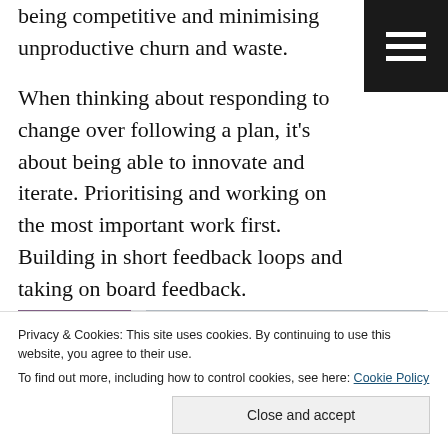being competitive and minimising unproductive churn and waste.
[Figure (other): Hamburger menu icon (three horizontal white lines on dark background)]
When thinking about responding to change over following a plan, it's about being able to innovate and iterate. Prioritising and working on the most important work first. Building in short feedback loops and taking on board feedback.
[Figure (photo): Photograph of a planning board with colorful sticky notes (orange, teal) on a grey background, partially visible]
Privacy & Cookies: This site uses cookies. By continuing to use this website, you agree to their use.
To find out more, including how to control cookies, see here: Cookie Policy
Close and accept